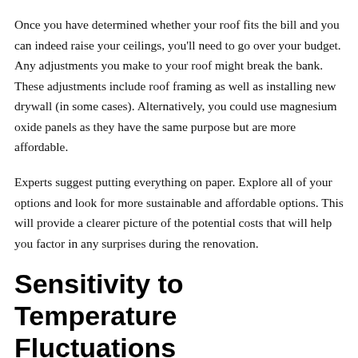Once you have determined whether your roof fits the bill and you can indeed raise your ceilings, you'll need to go over your budget. Any adjustments you make to your roof might break the bank. These adjustments include roof framing as well as installing new drywall (in some cases). Alternatively, you could use magnesium oxide panels as they have the same purpose but are more affordable.
Experts suggest putting everything on paper. Explore all of your options and look for more sustainable and affordable options. This will provide a clearer picture of the potential costs that will help you factor in any surprises during the renovation.
Sensitivity to Temperature Fluctuations
Another thing on the equation is that high ceiling...